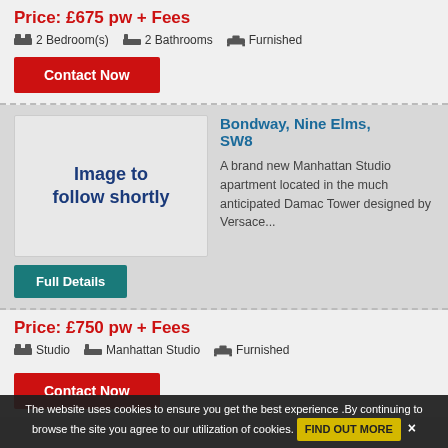Price: £675 pw + Fees
2 Bedroom(s)   2 Bathrooms   Furnished
Contact Now
[Figure (illustration): Image to follow shortly placeholder box]
Bondway, Nine Elms, SW8
A brand new Manhattan Studio apartment located in the much anticipated Damac Tower designed by Versace...
Full Details
Price: £750 pw + Fees
Studio   Manhattan Studio   Furnished
Contact Now
The website uses cookies to ensure you get the best experience .By continuing to browse the site you agree to our utilization of cookies.   FIND OUT MORE  ×